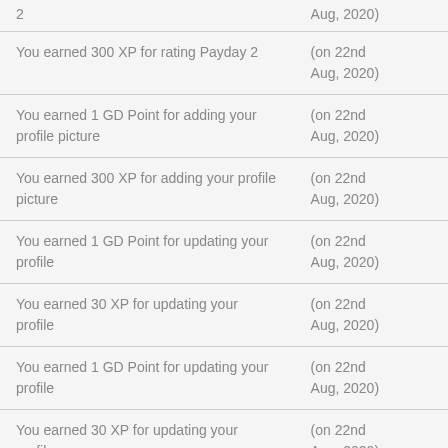2 | (on 22nd Aug, 2020)
You earned 300 XP for rating Payday 2 | (on 22nd Aug, 2020)
You earned 1 GD Point for adding your profile picture | (on 22nd Aug, 2020)
You earned 300 XP for adding your profile picture | (on 22nd Aug, 2020)
You earned 1 GD Point for updating your profile | (on 22nd Aug, 2020)
You earned 30 XP for updating your profile | (on 22nd Aug, 2020)
You earned 1 GD Point for updating your profile | (on 22nd Aug, 2020)
You earned 30 XP for updating your profile | (on 22nd Aug, 2020)